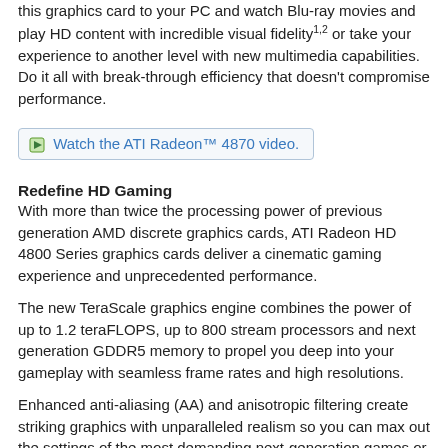this graphics card to your PC and watch Blu-ray movies and play HD content with incredible visual fidelity1,2 or take your experience to another level with new multimedia capabilities. Do it all with break-through efficiency that doesn't compromise performance.
[Figure (screenshot): Linked image: Watch the ATI Radeon™ 4870 video.]
Redefine HD Gaming
With more than twice the processing power of previous generation AMD discrete graphics cards, ATI Radeon HD 4800 Series graphics cards deliver a cinematic gaming experience and unprecedented performance.
The new TeraScale graphics engine combines the power of up to 1.2 teraFLOPS, up to 800 stream processors and next generation GDDR5 memory to propel you deep into your gameplay with seamless frame rates and high resolutions.
Enhanced anti-aliasing (AA) and anisotropic filtering create striking graphics with unparalleled realism so you can max out the settings of the most demanding next-generation games or revitalize your favorite titles.